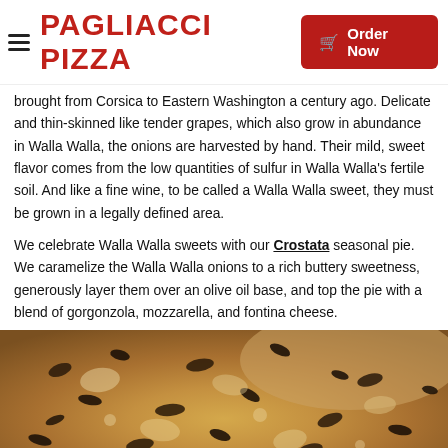PAGLIACCI PIZZA | Order Now
brought from Corsica to Eastern Washington a century ago. Delicate and thin-skinned like tender grapes, which also grow in abundance in Walla Walla, the onions are harvested by hand. Their mild, sweet flavor comes from the low quantities of sulfur in Walla Walla's fertile soil. And like a fine wine, to be called a Walla Walla sweet, they must be grown in a legally defined area.
We celebrate Walla Walla sweets with our Crostata seasonal pie. We caramelize the Walla Walla onions to a rich buttery sweetness, generously layer them over an olive oil base, and top the pie with a blend of gorgonzola, mozzarella, and fontina cheese.
[Figure (photo): Close-up photo of a pizza topped with caramelized onions, gorgonzola, mozzarella, and fontina cheese — the Crostata seasonal pie from Pagliacci Pizza.]